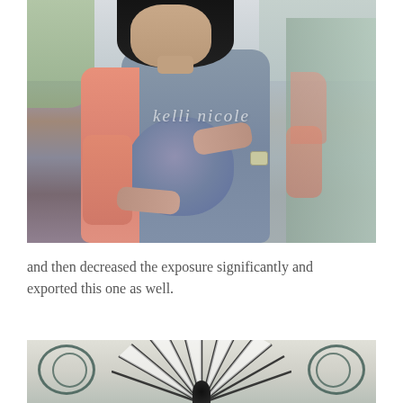[Figure (photo): Photograph of a pregnant woman wearing a gray dress and salmon/coral cardigan, cradling her baby bump with both hands. She has dark hair and stands outdoors near a decorative fountain. A watermark reading 'kelli nicole' appears across the image.]
and then decreased the exposure significantly and exported this one as well.
[Figure (photo): Close-up photograph of a decorative metal umbrella or fan-shaped ornamental structure with radiating spokes, with ornate scrollwork visible in the background. The image is partially cropped at the bottom of the page.]